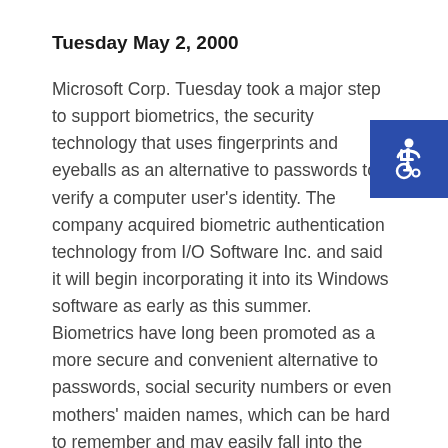Tuesday May 2, 2000
Microsoft Corp. Tuesday took a major step to support biometrics, the security technology that uses fingerprints and eyeballs as an alternative to passwords to verify a computer user's identity. The company acquired biometric authentication technology from I/O Software Inc. and said it will begin incorporating it into its Windows software as early as this summer. Biometrics have long been promoted as a more secure and convenient alternative to passwords, social security numbers or even mothers' maiden names, which can be hard to remember and may easily fall into the wrong hands. Industry experts say Microsoft's move could be pivotal
[Figure (illustration): Accessibility icon: white wheelchair symbol on blue square background]